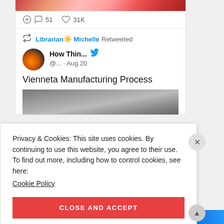[Figure (screenshot): Top portion of a food image (candies/snacks) partially visible at top]
51   31K
Librarian ☀️ Michelle Retweeted
How Thin...  @... · Aug 20
Vienneta Manufacturing Process
[Figure (screenshot): Manufacturing facility image, partially visible]
Privacy & Cookies: This site uses cookies. By continuing to use this website, you agree to their use.
To find out more, including how to control cookies, see here:
Cookie Policy
CLOSE AND ACCEPT